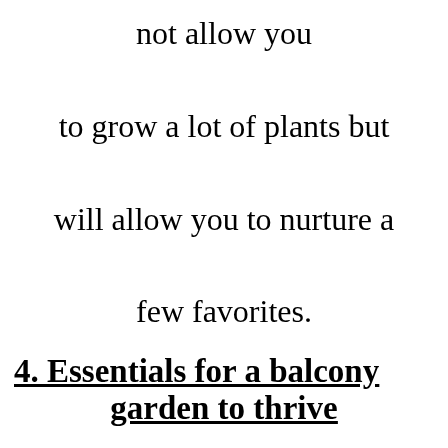not allow you to grow a lot of plants but will allow you to nurture a few favorites.
4. Essentials for a balcony garden to thrive